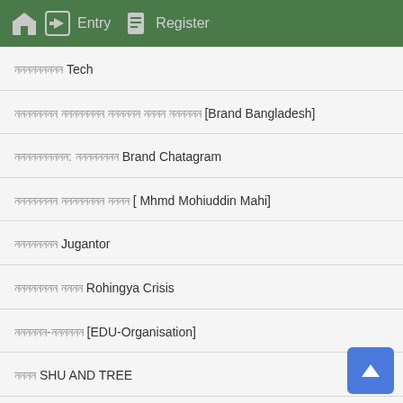Entry  Register
□□□□□□□□□ Tech
□□□□□□□□□ □□□□□□□□□ □□□□□□ □□□□ □□□□□□ [Brand Bangladesh]
□□□□□□□□□□: □□□□□□□□□ Brand Chatagram
□□□□□□□□□ □□□□□□□□□ □□□□ [ Mhmd Mohiuddin Mahi]
□□□□□□□□□ Jugantor
□□□□□□□□□ □□□□ Rohingya Crisis
□□□□□□-□□□□□ [EDU-Organisation]
□□□□ SHU AND TREE